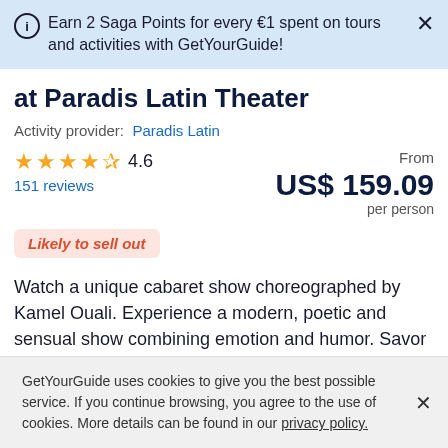Earn 2 Saga Points for every €1 spent on tours and activities with GetYourGuide!
at Paradis Latin Theater
Activity provider: Paradis Latin
★★★★½ 4.6
151 reviews
From US$ 159.09 per person
Likely to sell out
Watch a unique cabaret show choreographed by Kamel Ouali. Experience a modern, poetic and sensual show combining emotion and humor. Savor quality French
GetYourGuide uses cookies to give you the best possible service. If you continue browsing, you agree to the use of cookies. More details can be found in our privacy policy.